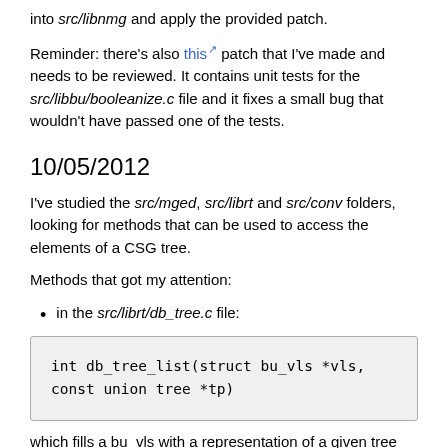into src/libnmg and apply the provided patch.
Reminder: there's also this patch that I've made and needs to be reviewed. It contains unit tests for the src/libbu/booleanize.c file and it fixes a small bug that wouldn't have passed one of the tests.
10/05/2012
I've studied the src/mged, src/librt and src/conv folders, looking for methods that can be used to access the elements of a CSG tree.
Methods that got my attention:
in the src/librt/db_tree.c file:
int db_tree_list(struct bu_vls *vls,
const union tree *tp)
which fills a bu_vls with a representation of a given tree